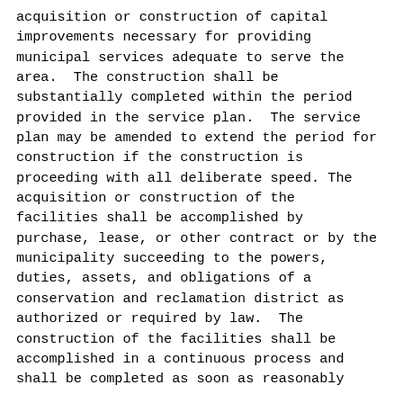acquisition or construction of capital improvements necessary for providing municipal services adequate to serve the area.  The construction shall be substantially completed within the period provided in the service plan.  The service plan may be amended to extend the period for construction if the construction is proceeding with all deliberate speed. The acquisition or construction of the facilities shall be accomplished by purchase, lease, or other contract or by the municipality succeeding to the powers, duties, assets, and obligations of a conservation and reclamation district as authorized or required by law.  The construction of the facilities shall be accomplished in a continuous process and shall be completed as soon as reasonably